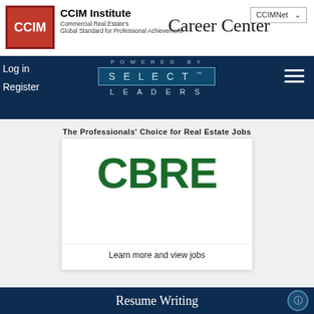[Figure (logo): CCIM Institute logo - red square with white CCIM text]
CCIM Institute
Commercial Real Estate's
Global Standard for Professional Achievement
Career Center
CCIMNet
Log in
Register
[Figure (logo): POWERED BY SELECT LEADERS logo in dark navy bar]
The Professionals' Choice for Real Estate Jobs
[Figure (logo): CBRE logo in dark green large bold letters on white card background]
Learn more and view jobs
Resume Writing